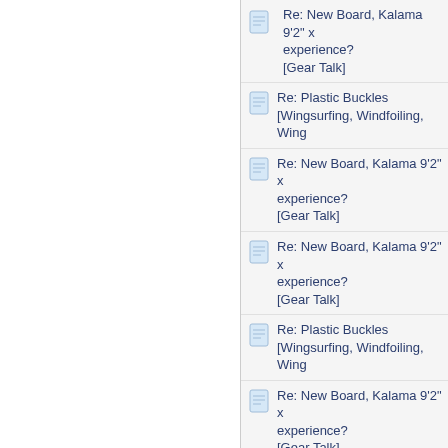Re: New Board, Kalama 9'2" x experience?
[Gear Talk]
Re: Plastic Buckles
[Wingsurfing, Windfoiling, Wing
Re: New Board, Kalama 9'2" x experience?
[Gear Talk]
Re: New Board, Kalama 9'2" x experience?
[Gear Talk]
Re: Plastic Buckles
[Wingsurfing, Windfoiling, Wing
Re: New Board, Kalama 9'2" x experience?
[Gear Talk]
Re: New Board, Kalama 9'2" x experience?
[Gear Talk]
Cabrihna H- 1200 complete
[Classifieds]
Re: Plastic Buckles
[Wingsurfing, Windfoiling, Wing
Re: Signature (SPG) Albatross $950 shipped within US
[Classifieds]